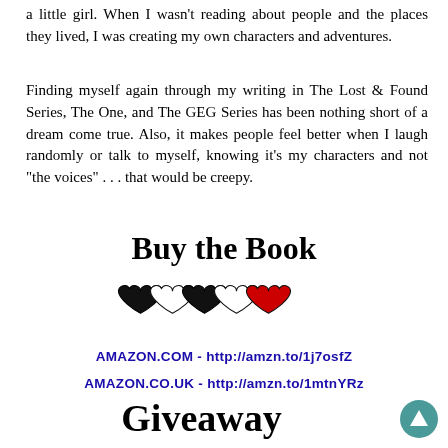a little girl. When I wasn't reading about people and the places they lived, I was creating my own characters and adventures.
Finding myself again through my writing in The Lost & Found Series, The One, and The GEG Series has been nothing short of a dream come true. Also, it makes people feel better when I laugh randomly or talk to myself, knowing it's my characters and not "the voices" . . . that would be creepy.
[Figure (illustration): Buy the Book heading with hearts graphic - shows five overlapping heart shapes (black and white/outlined) with one red heart on the right]
AMAZON.COM - http://amzn.to/1j7osfZ
AMAZON.CO.UK - http://amzn.to/1mtnYRz
Giveaway